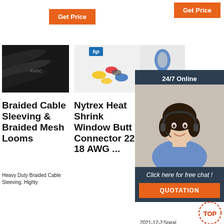[Figure (other): Orange 'Get Price' button (left)]
[Figure (other): Orange 'Get Price' button (center)]
[Figure (photo): Braided cable sleeving - black braided mesh tubes]
Braided Cable Sleeving & Braided Mesh Looms
Heavy Duty Braided Cable Sleeving. Highly
[Figure (photo): Nytrex Heat Shrink Window Butt Connector - colorful connectors with HP logo]
Nytrex Heat Shrink Window Butt Connector 22 - 18 AWG ...
[Figure (photo): Helamantel Flex conduit connectors and fittings - wire and cable]
Helamantel Flex Conduit and Fittings - Wire and Cable ...
2021-12-2    Spiral
[Figure (infographic): 24/7 Online chat widget with woman headset photo, 'Click here for free chat!' and QUOTATION button]
[Figure (other): TOP scroll-to-top button icon]